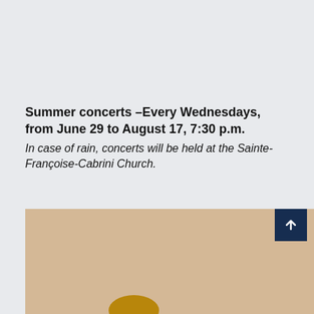Summer concerts –Every Wednesdays, from June 29 to August 17, 7:30 p.m.
In case of rain, concerts will be held at the Sainte-Françoise-Cabrini Church.
[Figure (photo): Three men posing with an upright piano against a beige/cream background. Left man wears a tan jacket and dark pants, leaning on the piano smiling. Center man sits on the piano bench wearing an orange/mustard jacket, leaning back with mouth open laughing. Right man sits on top of the piano edge wearing a cream sweater and olive/brown pants.]